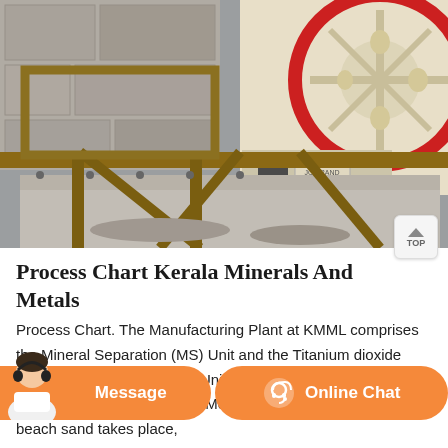[Figure (photo): Industrial mining/mineral processing equipment — metal frame structure in foreground with stone/concrete surroundings, and a large industrial crusher machine with red and yellow/cream colored flywheel visible in the upper right background.]
Process Chart Kerala Minerals And Metals
Process Chart. The Manufacturing Plant at KMML comprises the Mineral Separation (MS) Unit and the Titanium dioxide Pigment (TP) Unit. The MS Unit is where the separation of Ilmenite, Rutile, Leucoxone, Monazite, Silliminite etc from the beach sand takes place,
[Figure (screenshot): Chat bar with Message button on the left (orange) and Online Chat button on the right (orange with headset icon), and a customer service avatar on the far left.]